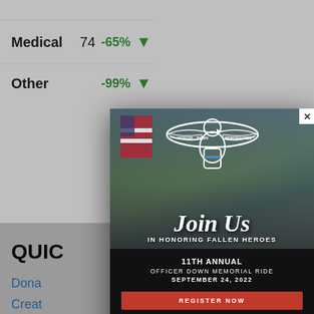| Category | Count | Change | Direction |
| --- | --- | --- | --- |
| Medical | 74 | -65% | ↓ |
| Other | 8 | -99% | ↓ |
QUIC...
Dona...
Creat...
Gift S...
Join t...
[Figure (screenshot): Modal popup overlay for Officer Down Memorial Ride event. Shows eagle logo with 'OFFICER DOWN MEMORIAL RIDE' text, photo of motorcycles with American flag background, text 'Join Us IN HONORING FALLEN HEROES', '11TH ANNUAL OFFICER DOWN MEMORIAL RIDE SEPTEMBER 24, 2022', and a red 'REGISTER NOW' button. Modal has an X close button in top right corner.]